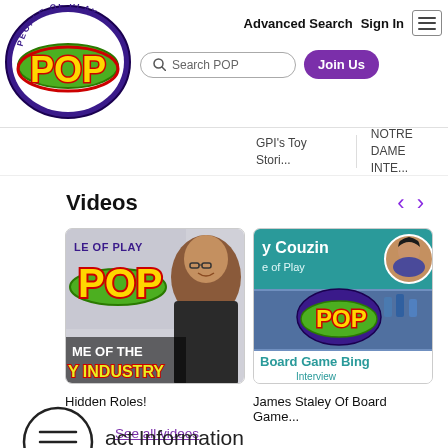[Figure (screenshot): People of Play (POP) website header with logo, navigation links 'Advanced Search', 'Sign In', hamburger menu, search bar 'Search POP', and purple 'Join Us' button]
GPI's Toy Stori...
NOTRE DAME INTE...
Videos
[Figure (screenshot): Video thumbnail 1: POP logo branding with text 'ME OF THE Y INDUSTRY' and a woman smiling with glasses. Caption: Hidden Roles!]
[Figure (screenshot): Video thumbnail 2: 'y Couzin - e of Play' header with POP logo and 'Board Game Bing - Interview' overlay. Caption: James Staley Of Board Game...]
Hidden Roles!
James Staley Of Board Game...
See all videos
[Figure (illustration): Circle with three horizontal lines (hamburger/menu icon)]
act Information